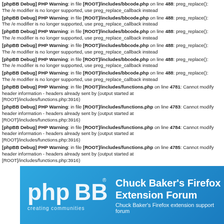[phpBB Debug] PHP Warning: in file [ROOT]/includes/bbcode.php on line 488: preg_replace(): The /e modifier is no longer supported, use preg_replace_callback instead
[phpBB Debug] PHP Warning: in file [ROOT]/includes/bbcode.php on line 488: preg_replace(): The /e modifier is no longer supported, use preg_replace_callback instead
[phpBB Debug] PHP Warning: in file [ROOT]/includes/bbcode.php on line 488: preg_replace(): The /e modifier is no longer supported, use preg_replace_callback instead
[phpBB Debug] PHP Warning: in file [ROOT]/includes/bbcode.php on line 488: preg_replace(): The /e modifier is no longer supported, use preg_replace_callback instead
[phpBB Debug] PHP Warning: in file [ROOT]/includes/bbcode.php on line 488: preg_replace(): The /e modifier is no longer supported, use preg_replace_callback instead
[phpBB Debug] PHP Warning: in file [ROOT]/includes/bbcode.php on line 488: preg_replace(): The /e modifier is no longer supported, use preg_replace_callback instead
[phpBB Debug] PHP Warning: in file [ROOT]/includes/functions.php on line 4781: Cannot modify header information - headers already sent by (output started at [ROOT]/includes/functions.php:3916)
[phpBB Debug] PHP Warning: in file [ROOT]/includes/functions.php on line 4783: Cannot modify header information - headers already sent by (output started at [ROOT]/includes/functions.php:3916)
[phpBB Debug] PHP Warning: in file [ROOT]/includes/functions.php on line 4784: Cannot modify header information - headers already sent by (output started at [ROOT]/includes/functions.php:3916)
[phpBB Debug] PHP Warning: in file [ROOT]/includes/functions.php on line 4785: Cannot modify header information - headers already sent by (output started at [ROOT]/includes/functions.php:3916)
[Figure (logo): phpBB logo with 'creating communities' tagline on blue gradient background]
Chuck Baker's Firefox Extension Forum
Chuck Baker's Firefox extension support forum
Board index ‹ Firefox Extensions ‹ TEBE
A problem when translating TEBE